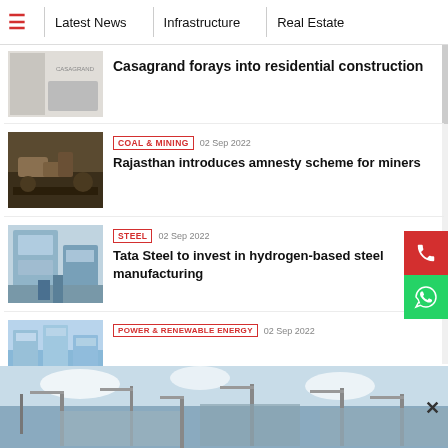Latest News | Infrastructure | Real Estate
Casagrand forays into residential construction
COAL & MINING  02 Sep 2022  Rajasthan introduces amnesty scheme for miners
STEEL  02 Sep 2022  Tata Steel to invest in hydrogen-based steel manufacturing
POWER & RENEWABLE ENERGY  02 Sep 2022
[Figure (screenshot): Construction site banner ad at bottom of page]